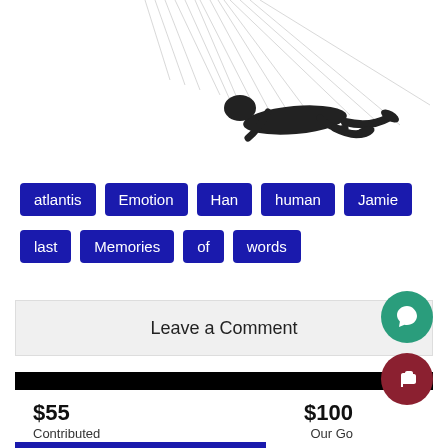[Figure (photo): A marionette puppet figure suspended horizontally by strings against a white background, viewed from above/side. Strings radiate upward from the figure.]
atlantis
Emotion
Han
human
Jamie
last
Memories
of
words
Leave a Comment
Donate to Sword & Shield
$55 Contributed
$100 Our Go